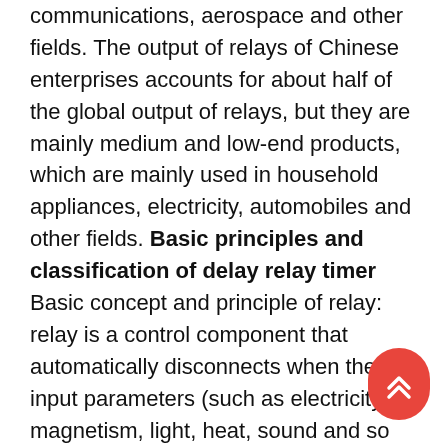communications, aerospace and other fields. The output of relays of Chinese enterprises accounts for about half of the global output of relays, but they are mainly medium and low-end products, which are mainly used in household appliances, electricity, automobiles and other fields. Basic principles and classification of delay relay timer Basic concept and principle of relay: relay is a control component that automatically disconnects when the input parameters (such as electricity, magnetism, light, heat, sound and so on) in the circuit reach a specified value, which can make the output parameters of the circuit change in a predetermined step. In circuits, relays mainly control, protect, regulate and transmit information. The relay has an induction mechanism that reflects external input parameters, an executive mechanism that realizes "on" "off" control of the controlled circuit, and an intermediate comparison mechanism that compares, judges and converts
[Figure (other): Red rounded scroll-to-top button with double chevron up arrow, positioned in bottom-right area of the page]